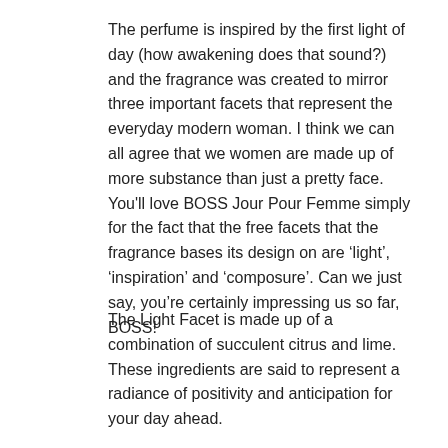The perfume is inspired by the first light of day (how awakening does that sound?) and the fragrance was created to mirror three important facets that represent the everyday modern woman. I think we can all agree that we women are made up of more substance than just a pretty face. You'll love BOSS Jour Pour Femme simply for the fact that the free facets that the fragrance bases its design on are 'light', 'inspiration' and 'composure'. Can we just say, you're certainly impressing us so far, BOSS!
The Light Facet is made up of a combination of succulent citrus and lime. These ingredients are said to represent a radiance of positivity and anticipation for your day ahead.